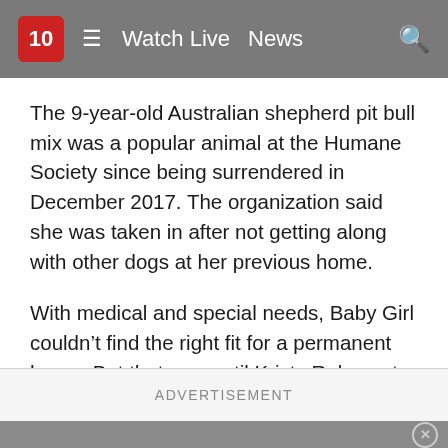10  ≡  Watch Live  News  🔍
The 9-year-old Australian shepherd pit bull mix was a popular animal at the Humane Society since being surrendered in December 2017. The organization said she was taken in after not getting along with other dogs at her previous home.
With medical and special needs, Baby Girl couldn't find the right fit for a permanent home. But that was until Kristy Raley put in months of work earning the animal's trust and eventually bringing her home.
ADVERTISEMENT